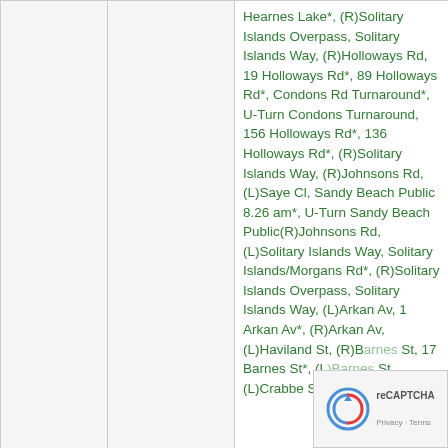|  |  | Route/Details |
| --- | --- | --- |
|  |  | Hearnes Lake*, (R)Solitary Islands Overpass, Solitary Islands Way, (R)Holloways Rd, 19 Holloways Rd*, 89 Holloways Rd*, Condons Rd Turnaround*, U-Turn Condons Turnaround, 156 Holloways Rd*, 136 Holloways Rd*, (R)Solitary Islands Way, (R)Johnsons Rd, (L)Saye Cl, Sandy Beach Public 8.26 am*, U-Turn Sandy Beach Public(R)Johnsons Rd, (L)Solitary Islands Way, Solitary Islands/Morgans Rd*, (R)Solitary Islands Overpass, Solitary Islands Way, (L)Arkan Av, 1 Arkan Av*, (R)Arkan Av, (L)Haviland St, (R)Barnes St, 17 Barnes St*, (L)Barnes St, (L)Crabbe St, (R)Sare St, |
| 824 | 8.11 am |  |